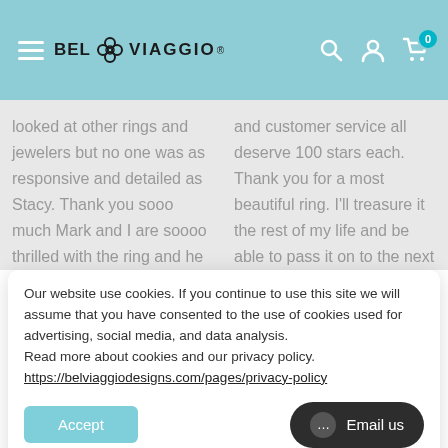BEL VIAGGIO header navigation
looked at other rings and jewelers but no one was as responsive and detailed as Stacy. Thank you sooo much Mark and I are soooo thrilled with the ring and he is very particular! Definitely going to order a second
and customer service all deserve 100 stars each. Thank you for a most beautiful ring. I'll treasure it the rest of my life and be able to pass it on to the next generation. My husband and I will be ordering from this
Our website use cookies. If you continue to use this site we will assume that you have consented to the use of cookies used for advertising, social media, and data analysis. Read more about cookies and our privacy policy. https://belviaggiodesigns.com/pages/privacy-policy
Accept
Email us